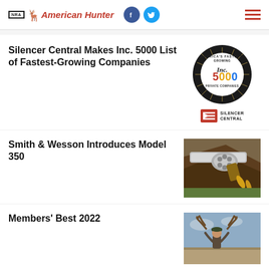NRA American Hunter
Silencer Central Makes Inc. 5000 List of Fastest-Growing Companies
[Figure (logo): Inc. 5000 America's Fastest-Growing Private Companies badge, circular seal with sunburst design, with Inc. 5000 text in red/blue/gold. Below: Silencer Central logo mark and text.]
Smith & Wesson Introduces Model 350
[Figure (photo): Photo of a Smith & Wesson revolver (silver/stainless) lying on a leather holster with ammunition, on grassy ground.]
Members' Best 2022
[Figure (photo): Photo of a hunter holding antlers outdoors in an open landscape.]